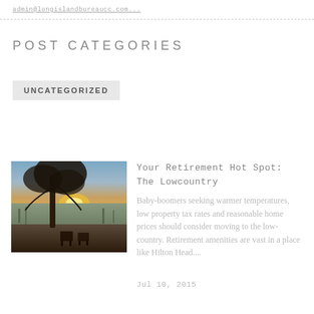admin@longislandbureaucc.com
POST CATEGORIES
UNCATEGORIZED
[Figure (photo): Landscape photo of a lowcountry scene at sunset with a large tree silhouetted against the sky, water marshes in the background, and Adirondack chairs in the foreground.]
Your Retirement Hot Spot: The Lowcountry
Baby-boomers seeking warmer temperatures, low property tax rates and reasonable home prices should consider moving to the low-country. Retirement amenities are vast in a place like Hilton Head....
Jul 10, 2015